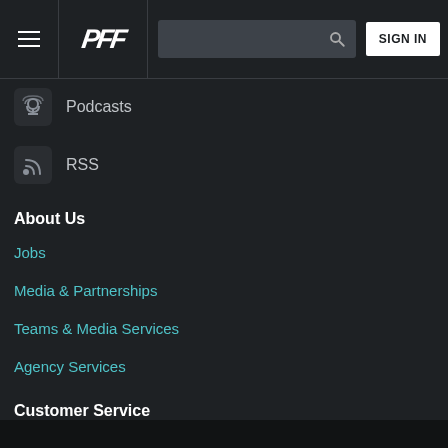PFF navigation header with hamburger menu, PFF logo, search bar, and SIGN IN button
Podcasts
RSS
About Us
Jobs
Media & Partnerships
Teams & Media Services
Agency Services
Customer Service
Contact Support
Frequently Asked Questions